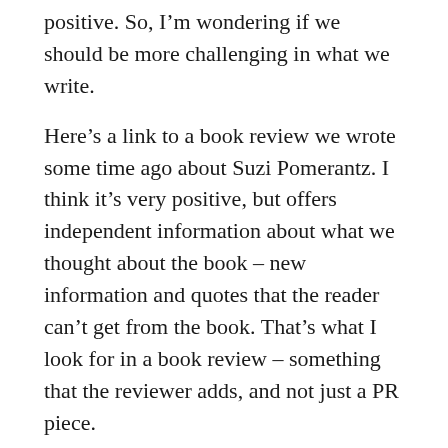positive. So, I'm wondering if we should be more challenging in what we write.
Here's a link to a book review we wrote some time ago about Suzi Pomerantz. I think it's very positive, but offers independent information about what we thought about the book – new information and quotes that the reader can't get from the book. That's what I look for in a book review – something that the reviewer adds, and not just a PR piece.
Here's the link – http://goldencompass.com/blog/335-ways-to-make-your-professional-services-business-succeed/